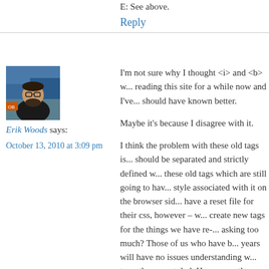E: See above.
Reply
[Figure (photo): Avatar photo of Erik Woods — a man with glasses and a beard]
Erik Woods says:
October 13, 2010 at 3:09 pm
I'm not sure why I thought <i> and <b> w... reading this site for a while now and I've... should have known better.
Maybe it's because I disagree with it.
I think the problem with these old tags is... should be separated and strictly defined w... these old tags which are still going to hav... style associated with it on the browser sid... have a reset file for their css, however – w... create new tags for the things we have re-... asking too much? Those of us who have b... years will have no issues understanding w... tags, they are styled. However – those ne... this happens, if our coding is supposed to... markup and style. I think we should practi... to aid in that. I'm not sure. Browser mal...